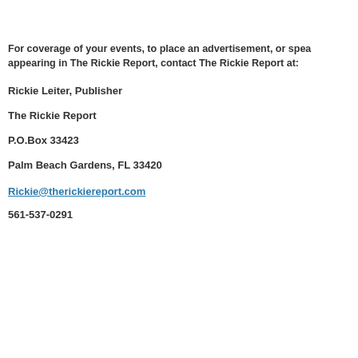For coverage of your events, to place an advertisement, or spea… appearing in The Rickie Report, contact The Rickie Report at:
Rickie Leiter, Publisher
The Rickie Report
P.O.Box 33423
Palm Beach Gardens, FL 33420
Rickie@therickiereport.com
561-537-0291